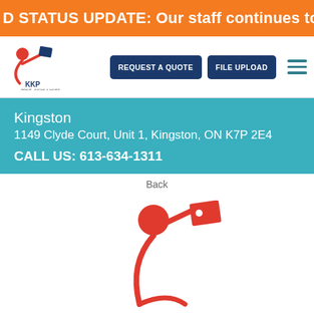D STATUS UPDATE: Our staff continues to wear masks for every
[Figure (logo): KKP Print Signs & More logo — red figure holding a sign with KKP text]
REQUEST A QUOTE   FILE UPLOAD
Kingston
1149 Clyde Court, Unit 1, Kingston, ON K7P 2E4
CALL US: 613-634-1311
Back
[Figure (logo): KKP large red figure logo holding a sign]
Don't see what